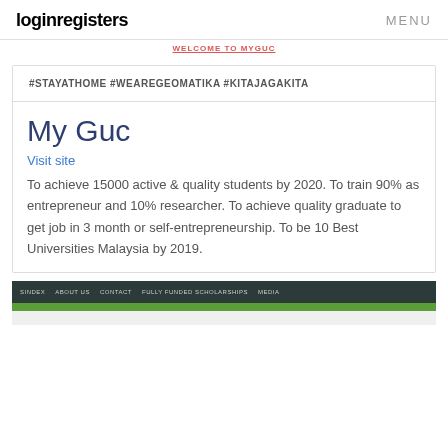loginregisters   MENU
WELCOME TO MYGUC
#STAYATHOME #WEAREGEOMATIKA #KITAJAGAKITA
My Guc
Visit site
To achieve 15000 active & quality students by 2020. To train 90% as entrepreneur and 10% researcher. To achieve quality graduate to get job in 3 month or self-entrepreneurship. To be 10 Best Universities Malaysia by 2019.
[Figure (screenshot): Screenshot of a website with dark navigation bar showing links: SINDEX, ABOUT US, CONTACT, FULLY FUNDED SCHOLARSHIPS, MEDIA, with a green content bar below]